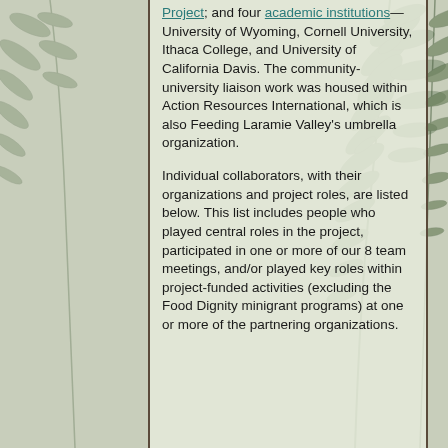Project; and four academic institutions—University of Wyoming, Cornell University, Ithaca College, and University of California Davis. The community-university liaison work was housed within Action Resources International, which is also Feeding Laramie Valley's umbrella organization.

Individual collaborators, with their organizations and project roles, are listed below. This list includes people who played central roles in the project, participated in one or more of our 8 team meetings, and/or played key roles within project-funded activities (excluding the Food Dignity minigrant programs) at one or more of the partnering organizations.